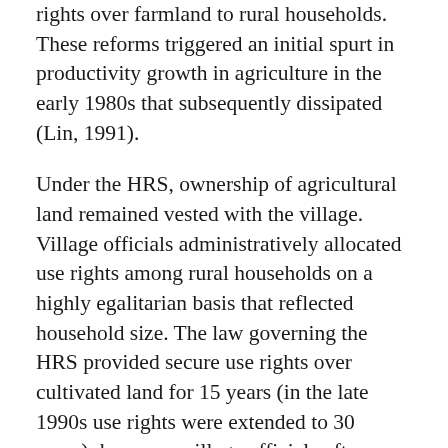rights over farmland to rural households. These reforms triggered an initial spurt in productivity growth in agriculture in the early 1980s that subsequently dissipated (Lin, 1991).
Under the HRS, ownership of agricultural land remained vested with the village. Village officials administratively allocated use rights among rural households on a highly egalitarian basis that reflected household size. The law governing the HRS provided secure use rights over cultivated land for 15 years (in the late 1990s use rights were extended to 30 years); however, village officials often reallocated land among households before the 15-year period expired (Benjamin et. al., 2002). A primary motivation of the reallocations was to